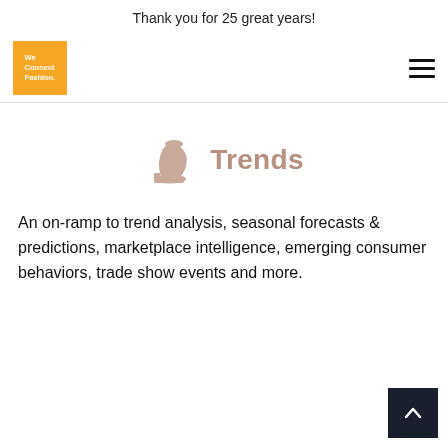Thank you for 25 great years!
[Figure (logo): We Connect Fashion orange square logo on left; hamburger menu icon on right]
[Figure (illustration): A mauve/taupe colored high-heel boot icon next to the word Trends in bold taupe/brown color]
An on-ramp to trend analysis, seasonal forecasts & predictions, marketplace intelligence, emerging consumer behaviors, trade show events and more.